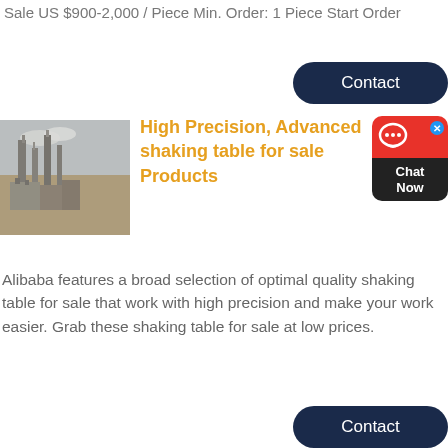Sale US $900-2,000 / Piece Min. Order: 1 Piece Start Order
[Figure (screenshot): Dark navy 'Contact' button (rounded rectangle)]
[Figure (screenshot): Chat widget with red top showing chat icon and close X button, dark bottom with 'Chat Now' text]
[Figure (photo): Industrial facility with tall structures and towers in a dusty/desert environment]
High Precision, Advanced shaking table for sale Products
Alibaba features a broad selection of optimal quality shaking table for sale that work with high precision and make your work easier. Grab these shaking table for sale at low prices.
[Figure (screenshot): Dark navy 'Contact' button (rounded rectangle)]